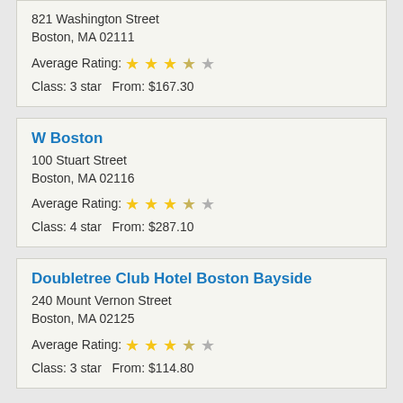821 Washington Street
Boston, MA 02111
Average Rating: 3.5 stars
Class: 3 star   From: $167.30
W Boston
100 Stuart Street
Boston, MA 02116
Average Rating: 3.5 stars
Class: 4 star   From: $287.10
Doubletree Club Hotel Boston Bayside
240 Mount Vernon Street
Boston, MA 02125
Average Rating: 3.5 stars
Class: 3 star   From: $114.80